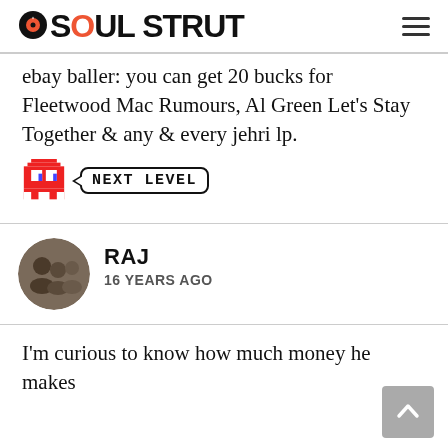SOUL STRUT
ebay baller: you can get 20 bucks for Fleetwood Mac Rumours, Al Green Let's Stay Together & any & every jehri lp.
[Figure (illustration): Pixel art red Pac-Man ghost with a speech bubble saying NEXT LEVEL]
RAJ
16 YEARS AGO
I'm curious to know how much money he makes per year?